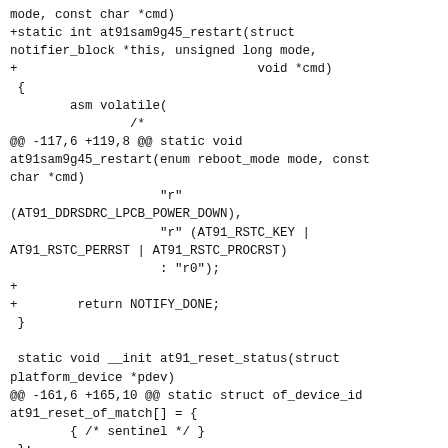mode, const char *cmd)
+static int at91sam9g45_restart(struct
notifier_block *this, unsigned long mode,
+                                void *cmd)
 {
        asm volatile(
                /*
@@ -117,6 +119,8 @@ static void
at91sam9g45_restart(enum reboot_mode mode, const
char *cmd)
                    "r"
(AT91_DDRSDRC_LPCB_POWER_DOWN),
                    "r" (AT91_RSTC_KEY |
AT91_RSTC_PERRST | AT91_RSTC_PROCRST)
                    : "r0");
+
+        return NOTIFY_DONE;
 }

 static void __init at91_reset_status(struct
platform_device *pdev)
@@ -161,6 +165,10 @@ static struct of_device_id
at91_reset_of_match[] = {
        { /* sentinel */ }
 };

+static struct notifier_block at91_restart_nb = {
+        .priority = 192,
+};
+